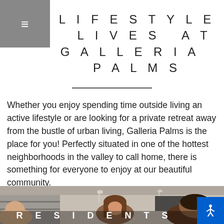≡
LIFESTYLE LIVES AT GALLERIA PALMS
Whether you enjoy spending time outside living an active lifestyle or are looking for a private retreat away from the bustle of urban living, Galleria Palms is the place for you! Perfectly situated in one of the hottest neighborhoods in the valley to call home, there is something for everyone to enjoy at our beautiful community.
[Figure (photo): Two women smiling and laughing together in a bright indoor social setting, appearing to be in a cafe or lounge environment.]
RESIDENTS